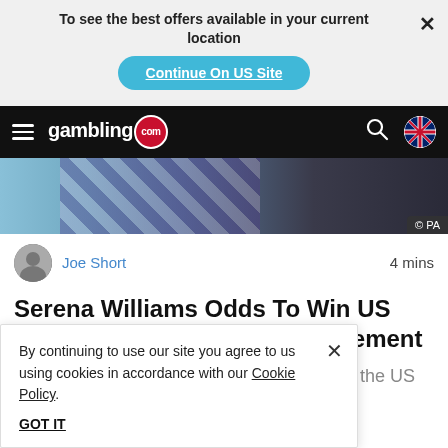To see the best offers available in your current location
[Figure (screenshot): Continue On US Site button (blue pill-shaped button)]
[Figure (screenshot): gambling.com navigation bar with hamburger menu, logo, search icon, and UK flag]
[Figure (photo): Blurred/cropped photo of Serena Williams with PA copyright badge]
Joe Short · 4 mins
Serena Williams Odds To Win US Open Drift Ahead Of Her Retirement
Serena Williams will retire from tennis after the US Open odds to win it.
By continuing to use our site you agree to us using cookies in accordance with our Cookie Policy.
GOT IT